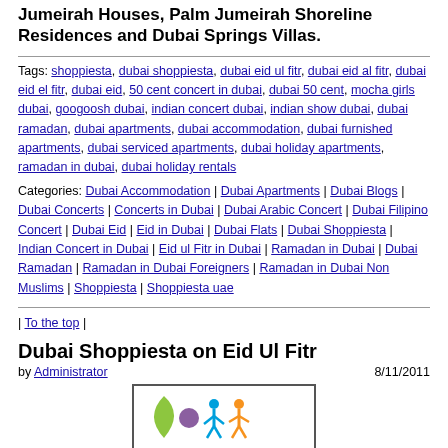Jumeirah Houses, Palm Jumeirah Shoreline Residences and Dubai Springs Villas.
Tags: shoppiesta, dubai shoppiesta, dubai eid ul fitr, dubai eid al fitr, dubai eid el fitr, dubai eid, 50 cent concert in dubai, dubai 50 cent, mocha girls dubai, googoosh dubai, indian concert dubai, indian show dubai, dubai ramadan, dubai apartments, dubai accommodation, dubai furnished apartments, dubai serviced apartments, dubai holiday apartments, ramadan in dubai, dubai holiday rentals
Categories: Dubai Accommodation | Dubai Apartments | Dubai Blogs | Dubai Concerts | Concerts in Dubai | Dubai Arabic Concert | Dubai Filipino Concert | Dubai Eid | Eid in Dubai | Dubai Flats | Dubai Shoppiesta | Indian Concert in Dubai | Eid ul Fitr in Dubai | Ramadan in Dubai | Dubai Ramadan | Ramadan in Dubai Foreigners | Ramadan in Dubai Non Muslims | Shoppiesta | Shoppiesta uae
| To the top |
Dubai Shoppiesta on Eid Ul Fitr
by Administrator   8/11/2011
[Figure (logo): Colorful logo with figures and a crescent/leaf shape on white background with dark border]